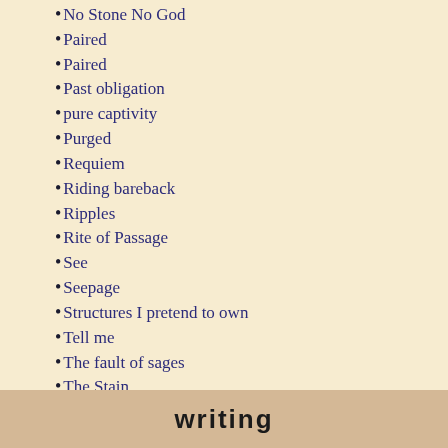No Stone No God
Paired
Paired
Past obligation
pure captivity
Purged
Requiem
Riding bareback
Ripples
Rite of Passage
See
Seepage
Structures I pretend to own
Tell me
The fault of sages
The Stain
Too damaged to be renewed
Trial and Witness
Trickle
Undertow
Voice
When I met an angel she was on a subway car
Where are you? I've been calling
With the purity of a single intention
writing